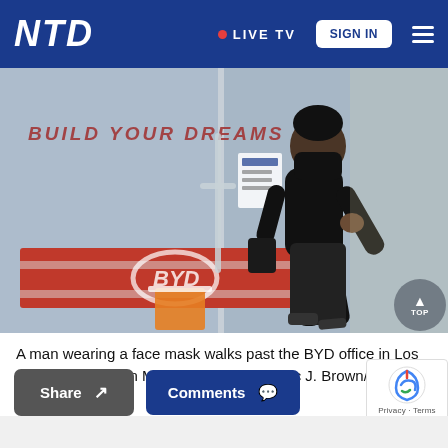NTD • LIVE TV  SIGN IN
[Figure (photo): A man wearing a black face mask and all-black clothing walks past the BYD (Build Your Dreams) office storefront with glass doors in Los Angeles, California. The BYD logo and slogan 'BUILD YOUR DREAMS' are visible on the glass.]
A man wearing a face mask walks past the BYD office in Los Angeles, Calif., on May 13, 2020. (Frederic J. Brown/AFP via Getty Images)